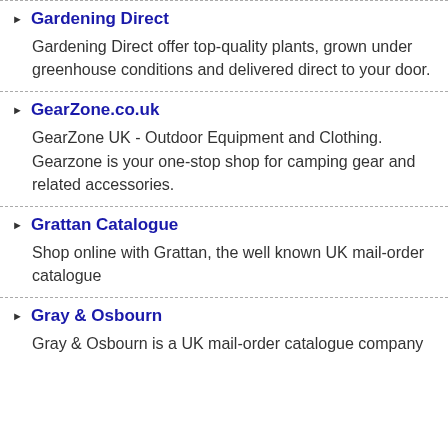Gardening Direct
Gardening Direct offer top-quality plants, grown under greenhouse conditions and delivered direct to your door.
GearZone.co.uk
GearZone UK - Outdoor Equipment and Clothing. Gearzone is your one-stop shop for camping gear and related accessories.
Grattan Catalogue
Shop online with Grattan, the well known UK mail-order catalogue
Gray & Osbourn
Gray & Osbourn is a UK mail-order catalogue company